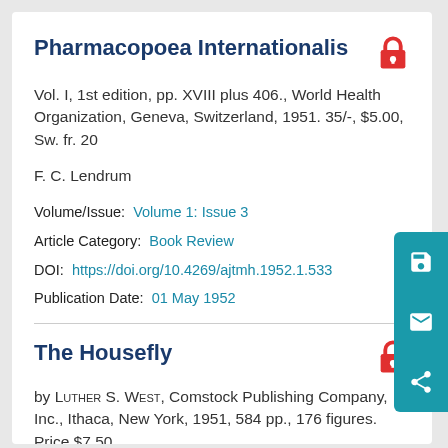Pharmacopoea Internationalis
Vol. I, 1st edition, pp. XVIII plus 406., World Health Organization, Geneva, Switzerland, 1951. 35/-, $5.00, Sw. fr. 20
F. C. Lendrum
Volume/Issue: Volume 1: Issue 3
Article Category: Book Review
DOI: https://doi.org/10.4269/ajtmh.1952.1.533
Publication Date: 01 May 1952
The Housefly
by Luther S. West, Comstock Publishing Company, Inc., Ithaca, New York, 1951, 584 pp., 176 figures. Price $7.50